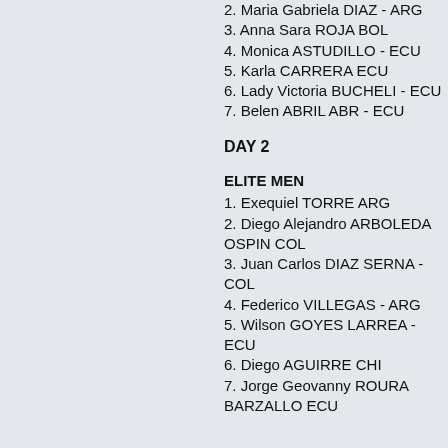2. Maria Gabriela DIAZ - ARG
3. Anna Sara ROJA BOL
4. Monica ASTUDILLO - ECU
5. Karla CARRERA ECU
6. Lady Victoria BUCHELI - ECU
7. Belen ABRIL ABR - ECU
DAY 2
ELITE MEN
1. Exequiel TORRE ARG
2. Diego Alejandro ARBOLEDA OSPIN COL
3. Juan Carlos DIAZ SERNA - COL
4. Federico VILLEGAS - ARG
5. Wilson GOYES LARREA - ECU
6. Diego AGUIRRE CHI
7. Jorge Geovanny ROURA BARZALLO ECU